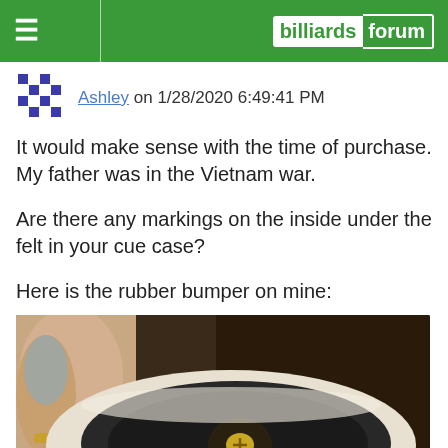billiards forum
Ashley on 1/28/2020 6:49:41 PM
It would make sense with the time of purchase. My father was in the Vietnam war.
Are there any markings on the inside under the felt in your cue case?
Here is the rubber bumper on mine:
[Figure (photo): Close-up photo of the end of a billiard cue showing a dark rubber bumper held by a hand with a ring, with a small gold screw visible in the center of the bumper.]